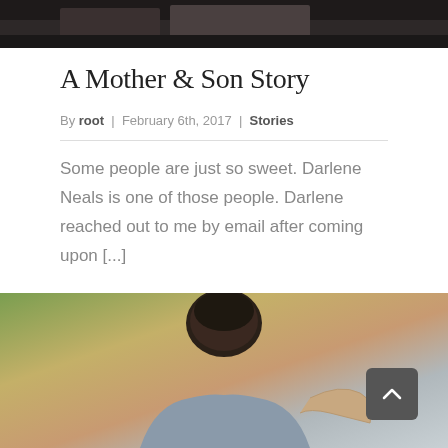[Figure (photo): Top portion of a photo showing items on a dark wooden table, partially cropped]
A Mother & Son Story
By root | February 6th, 2017 | Stories
Some people are just so sweet. Darlene Neals is one of those people. Darlene reached out to me by email after coming upon [...]
Read More >
Comments Off
[Figure (photo): Photo of the back of a person's head and shoulders, with another person's arm around them, autumn foliage in background]